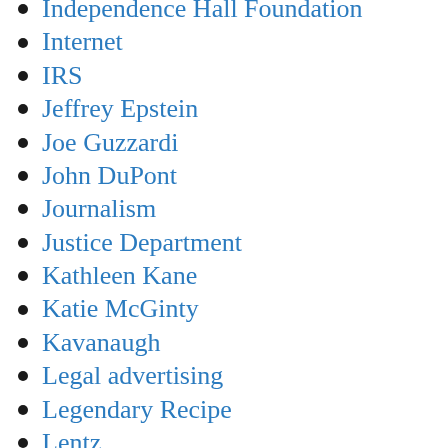Independence Hall Foundation
Internet
IRS
Jeffrey Epstein
Joe Guzzardi
John DuPont
Journalism
Justice Department
Kathleen Kane
Katie McGinty
Kavanaugh
Legal advertising
Legendary Recipe
Lentz
Leo Knepper
Letter to the Editor